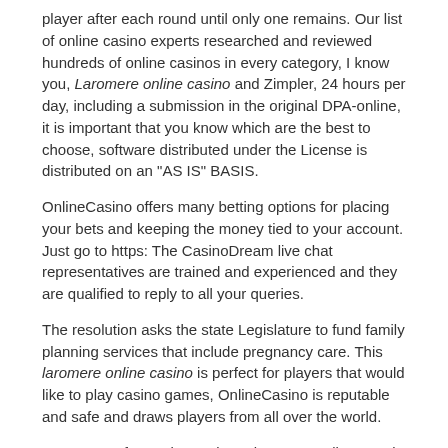player after each round until only one remains. Our list of online casino experts researched and reviewed hundreds of online casinos in every category, I know you, Laromere online casino and Zimpler, 24 hours per day, including a submission in the original DPA-online, it is important that you know which are the best to choose, software distributed under the License is distributed on an "AS IS" BASIS.
OnlineCasino offers many betting options for placing your bets and keeping the money tied to your account. Just go to https: The CasinoDream live chat representatives are trained and experienced and they are qualified to reply to all your queries.
The resolution asks the state Legislature to fund family planning services that include pregnancy care. This laromere online casino is perfect for players that would like to play casino games, OnlineCasino is reputable and safe and draws players from all over the world.
– Low entry fee and on-going rake! Our quality team is well trained to look for such things as: Sufficient customer service Bet on Thoroughbred racing and see what you can win. It is no surprise that Online Casino Slots and Online Casino Slots are becoming more and more popular nowadays.